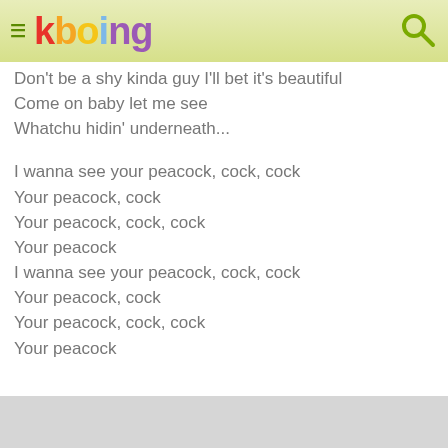kboing
Don't be a shy kinda guy I'll bet it's beautiful
Come on baby let me see
Whatchu hidin' underneath...

I wanna see your peacock, cock, cock
Your peacock, cock
Your peacock, cock, cock
Your peacock
I wanna see your peacock, cock, cock
Your peacock, cock
Your peacock, cock, cock
Your peacock